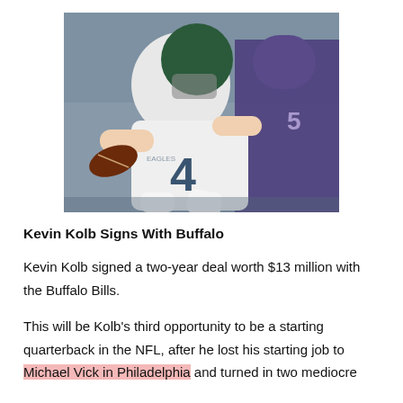[Figure (photo): Kevin Kolb wearing Philadelphia Eagles white jersey #4 running with football, with a Baltimore Ravens player in purple jersey #5 in background]
Kevin Kolb Signs With Buffalo
Kevin Kolb signed a two-year deal worth $13 million with the Buffalo Bills.
This will be Kolb’s third opportunity to be a starting quarterback in the NFL, after he lost his starting job to Michael Vick in Philadelphia and turned in two mediocre